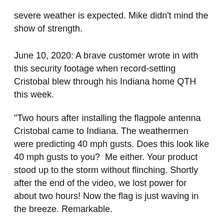severe weather is expected. Mike didn't mind the show of strength.
June 10, 2020: A brave customer wrote in with this security footage when record-setting Cristobal blew through his Indiana home QTH this week.
"Two hours after installing the flagpole antenna Cristobal came to Indiana. The weathermen were predicting 40 mph gusts. Does this look like 40 mph gusts to you?  Me either. Your product stood up to the storm without flinching. Shortly after the end of the video, we lost power for about two hours! Now the flag is just waving in the breeze. Remarkable.
73,
Mike
PS. The weather report said we had sustained winds in excess of 60 and gusts up to 75 in this